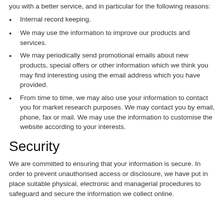you with a better service, and in particular for the following reasons:
Internal record keeping.
We may use the information to improve our products and services.
We may periodically send promotional emails about new products, special offers or other information which we think you may find interesting using the email address which you have provided.
From time to time, we may also use your information to contact you for market research purposes. We may contact you by email, phone, fax or mail. We may use the information to customise the website according to your interests.
Security
We are committed to ensuring that your information is secure. In order to prevent unauthorised access or disclosure, we have put in place suitable physical, electronic and managerial procedures to safeguard and secure the information we collect online.